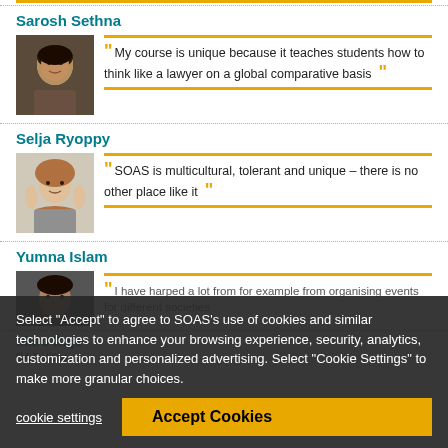Sarosh Sethna
My course is unique because it teaches students how to think like a lawyer on a global comparative basis
Selja Ryoppy
SOAS is multicultural, tolerant and unique – there is no other place like it
Yumna Islam
I have harped a lot from for example from organising events for different societies
Maro Itoje
BA Politics
Select "Accept" to agree to SOAS's use of cookies and similar technologies to enhance your browsing experience, security, analytics, customization and personalized advertising. Select "Cookie Settings" to make more granular choices.
cookie settings
Accept Cookies